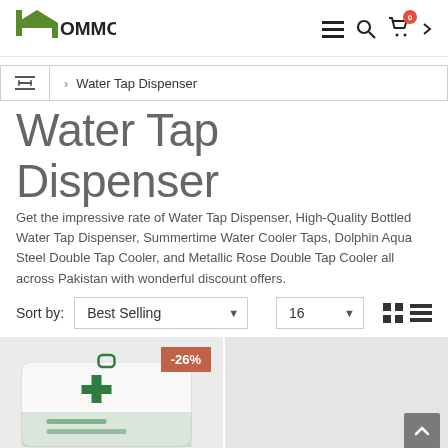Hommold — navigation header with logo, menu, search, cart (0)
Water Tap Dispenser (breadcrumb)
Water Tap Dispenser
Get the impressive rate of Water Tap Dispenser, High-Quality Bottled Water Tap Dispenser, Summertime Water Cooler Taps, Dolphin Aqua Steel Double Tap Cooler, and Metallic Rose Double Tap Cooler all across Pakistan with wonderful discount offers.
Sort by: Best Selling | 16
[Figure (photo): Product card with -26% discount badge showing a first aid kit / white box with green medical cross, product image partially visible]
[Figure (photo): Second product card, grey background, partially visible with scroll-to-top button]